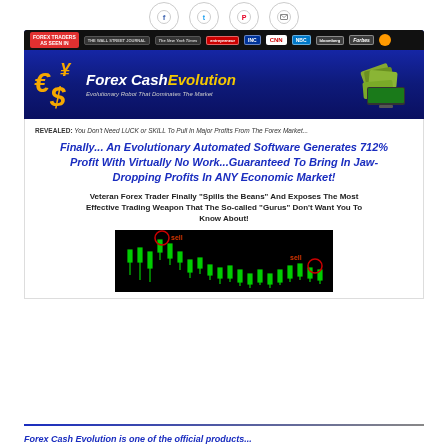[Figure (screenshot): Social sharing icons row (Facebook, Twitter, Pinterest, Email) as circular outlined buttons]
[Figure (screenshot): Forex Cash Evolution product page screenshot showing banner with logo, headline, sub-headline, and trading chart with buy/sell signals]
REVEALED: You Don't Need LUCK or SKILL To Pull In Major Profits From The Forex Market...
Finally... An Evolutionary Automated Software Generates 712% Profit With Virtually No Work...Guaranteed To Bring In Jaw-Dropping Profits In ANY Economic Market!
Veteran Forex Trader Finally "Spills the Beans" And Exposes The Most Effective Trading Weapon That The So-called "Gurus" Don't Want You To Know About!
[Figure (screenshot): Forex trading chart on black background with green candlestick pattern and red circled buy/sell signal markers labeled 'sell' and 'sell']
Forex Cash Evolution is one of the official products...